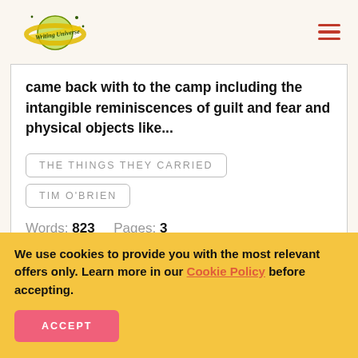[Figure (logo): Writing Universe logo — planet with pencil and text]
came back with to the camp including the intangible reminiscences of guilt and fear and physical objects like...
THE THINGS THEY CARRIED
TIM O'BRIEN
Words: 823    Pages: 3
We use cookies to provide you with the most relevant offers only. Learn more in our Cookie Policy before accepting.
ACCEPT